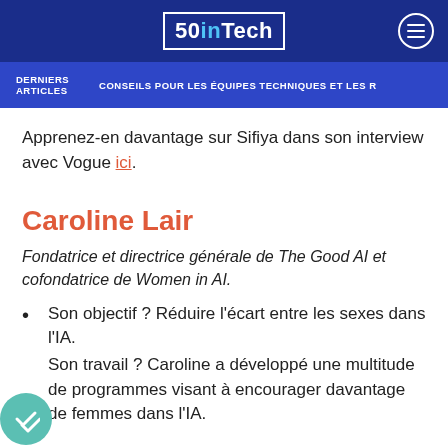50inTech
DERNIERS ARTICLES   CONSEILS POUR LES ÉQUIPES TECHNIQUES ET LES R
Apprenez-en davantage sur Sifiya dans son interview avec Vogue ici.
Caroline Lair
Fondatrice et directrice générale de The Good AI et cofondatrice de Women in AI.
Son objectif ? Réduire l'écart entre les sexes dans l'IA.
Son travail ? Caroline a développé une multitude de programmes visant à encourager davantage de femmes dans l'IA.